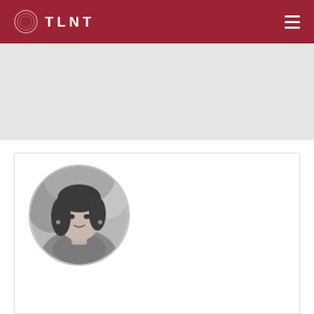TLNT
[Figure (photo): Circular black-and-white portrait photo of a woman with dark hair, smiling, outdoors with blurred foliage background]